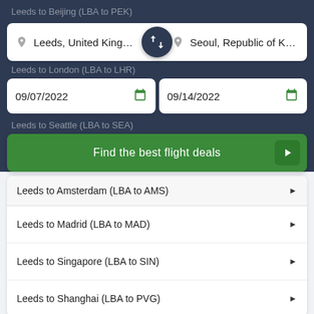Leeds to Beijing (LBA to PEK)
Leeds, United Kingdom
Seoul, Republic of Kore
Leeds to London (LBA to LHR)
09/07/2022
09/14/2022
Leeds to Seattle (LBA to SEA)
Find the best flight deals
Leeds to Amsterdam (LBA to AMS)
Leeds to Madrid (LBA to MAD)
Leeds to Singapore (LBA to SIN)
Leeds to Shanghai (LBA to PVG)
Popular Flights from Seoul, Republic of Korea